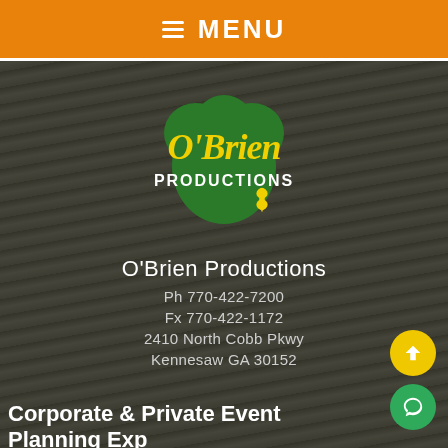≡ MENU
[Figure (logo): O'Brien Productions logo — green shamrock/clover shape with yellow cursive 'O'Brien' text and white 'PRODUCTIONS' text, with a small yellow four-leaf clover accent]
O'Brien Productions
Ph 770-422-7200
Fx 770-422-1172
2410 North Cobb Pkwy
Kennesaw GA 30152
Corporate & Private Event Planning Exp
Company Picnics
Carnivals & Fairs